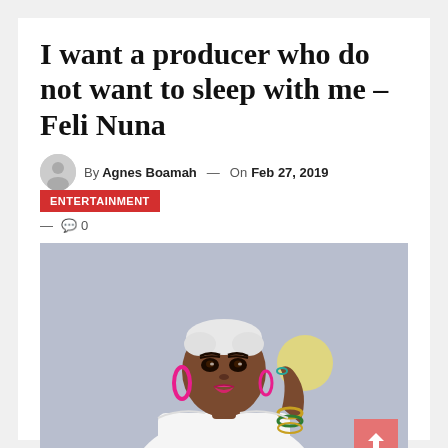I want a producer who do not want to sleep with me – Feli Nuna
By Agnes Boamah — On Feb 27, 2019 ENTERTAINMENT — 0
[Figure (photo): Portrait photo of Feli Nuna, a woman with short white/silver hair, dramatic makeup, pink hoop earrings, wearing a white off-shoulder top, accessorized with bangles and a ring, posed against a light grey background with a soft yellow circle element.]